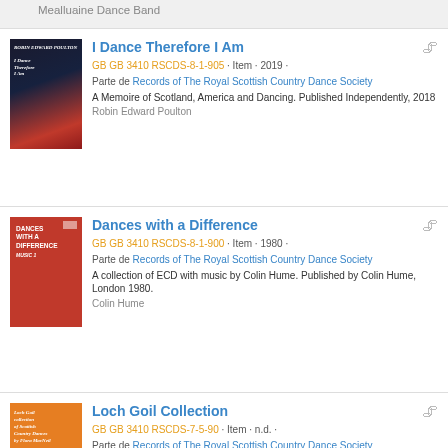Mealluaine Dance Band
I Dance Therefore I Am
GB GB 3410 RSCDS-8-1-905 · Item · 2019 ·
Parte de Records of The Royal Scottish Country Dance Society
A Memoire of Scotland, America and Dancing. Published Independently, 2018
Robin Edward Poulton
Dances with a Difference
GB GB 3410 RSCDS-8-1-900 · Item · 1980 ·
Parte de Records of The Royal Scottish Country Dance Society
A collection of ECD with music by Colin Hume. Published by Colin Hume, London 1980.
Colin Hume
Loch Goil Collection
GB GB 3410 RSCDS-7-5-90 · Item · n.d. ·
Parte de Records of The Royal Scottish Country Dance Society